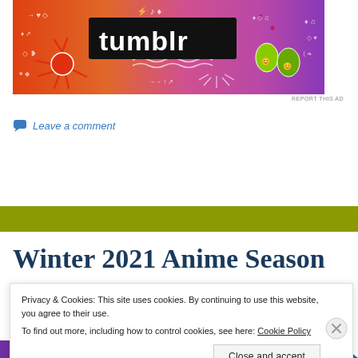[Figure (illustration): Tumblr advertisement banner with colorful gradient background (orange to pink to purple), featuring the Tumblr logo in bold black text on dark background, with various illustrated doodles including a red octopus/sun, green leaf characters, arrows, hearts, music notes, and wavy lines.]
REPORT THIS AD
Leave a comment
Winter 2021 Anime Season
Privacy & Cookies: This site uses cookies. By continuing to use this website, you agree to their use.
To find out more, including how to control cookies, see here: Cookie Policy
Close and accept
[Figure (illustration): Bottom advertisement banner partially visible, showing purple and blue colored shapes.]
REPORT THIS AD